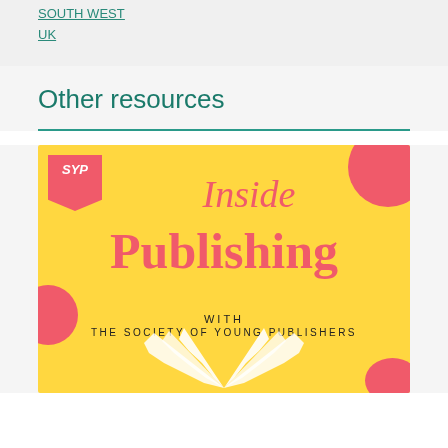SOUTH WEST
UK
Other resources
[Figure (illustration): SYP Inside Publishing podcast logo: yellow background with pink/red bold text reading 'Inside Publishing' with 'WITH THE SOCIETY OF YOUNG PUBLISHERS' below, SYP pennant badge top left, pink blobs decorating corners, and an open book graphic at the bottom.]